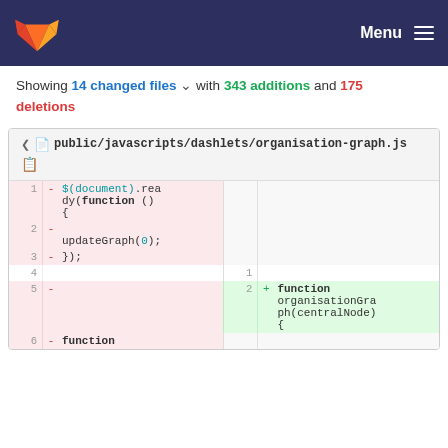GitLab header navigation with Menu
Showing 14 changed files ˅ with 343 additions and 175 deletions
[Figure (screenshot): GitLab diff view showing public/javascripts/dashlets/organisation-graph.js with deleted lines 1-3 ($(document).ready(function(){updateGraph(0);})) and added line 2 (function organisationGraph(centralNode){)]